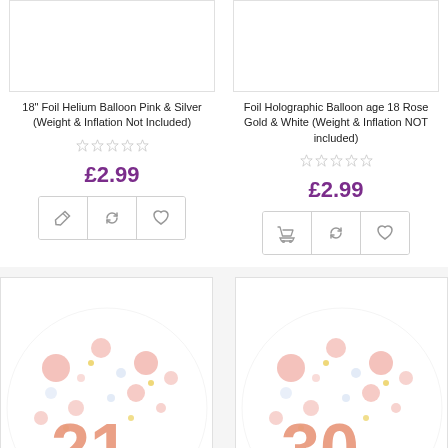[Figure (photo): Product image box (top left) - white foil balloon product, partially cropped]
18" Foil Helium Balloon Pink & Silver (Weight & Inflation Not Included)
☆☆☆☆☆
£2.99
[Figure (illustration): Action buttons: pencil/edit icon, refresh icon, heart/wishlist icon]
[Figure (photo): Product image box (top right) - holographic balloon product, partially cropped]
Foil Holographic Balloon age 18 Rose Gold & White (Weight & Inflation NOT included)
☆☆☆☆☆
£2.99
[Figure (illustration): Action buttons: shopping cart icon, refresh icon, heart/wishlist icon]
[Figure (photo): Bottom left product image - round foil balloon with number 21, rose gold confetti dots pattern, partially cropped]
[Figure (photo): Bottom right product image - round foil balloon with number 30, rose gold confetti dots pattern, partially cropped]